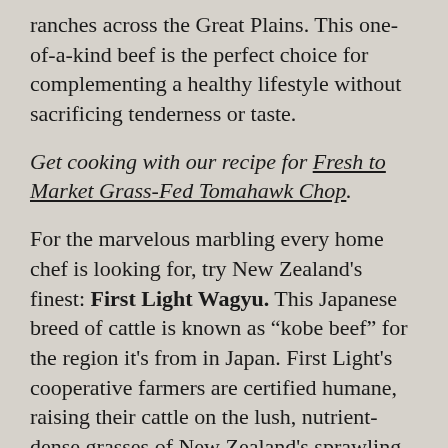ranches across the Great Plains. This one-of-a-kind beef is the perfect choice for complementing a healthy lifestyle without sacrificing tenderness or taste.
Get cooking with our recipe for Fresh to Market Grass-Fed Tomahawk Chop.
For the marvelous marbling every home chef is looking for, try New Zealand's finest: First Light Wagyu. This Japanese breed of cattle is known as “kobe beef” for the region it's from in Japan. First Light's cooperative farmers are certified humane, raising their cattle on the lush, nutrient-dense grasses of New Zealand's sprawling pastures.
Get cooking with our recipe for Wagyu New York Steak with Provençal Tomatoes.